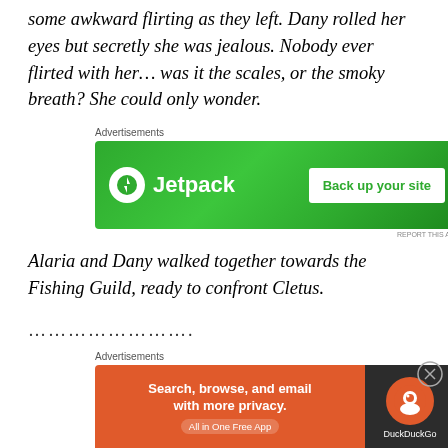some awkward flirting as they left. Dany rolled her eyes but secretly she was jealous. Nobody ever flirted with her… was it the scales, or the smoky breath? She could only wonder.
[Figure (other): Jetpack advertisement banner: green background with Jetpack logo and 'Back up your site' button]
Alaria and Dany walked together towards the Fishing Guild, ready to confront Cletus.
………………….
[Figure (other): DuckDuckGo advertisement banner: orange and dark background with 'Search, browse, and email with more privacy. All in One Free App' text and DuckDuckGo logo]